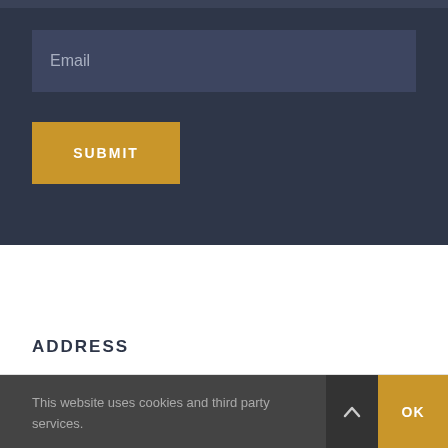[Figure (screenshot): Dark navy form section with an Email input field placeholder and a gold SUBMIT button]
ADDRESS
This website uses cookies and third party services.